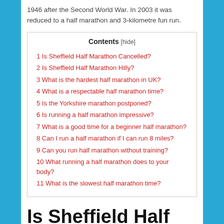1946 after the Second World War. In 2003 it was reduced to a half marathon and 3-kilometre fun run.
| Contents |
| --- |
| 1 Is Sheffield Half Marathon Cancelled? |
| 2 Is Sheffield Half Marathon Hilly? |
| 3 What is the hardest half marathon in UK? |
| 4 What is a respectable half marathon time? |
| 5 Is the Yorkshire marathon postponed? |
| 6 Is running a half marathon impressive? |
| 7 What is a good time for a beginner half marathon? |
| 8 Can I run a half marathon if I can run 8 miles? |
| 9 Can you run half marathon without training? |
| 10 What running a half marathon does to your body? |
| 11 What is the slowest half marathon time? |
Is Sheffield Half Marathon Cancelled?